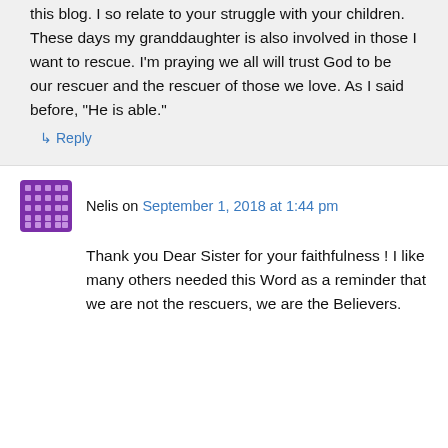this blog. I so relate to your struggle with your children. These days my granddaughter is also involved in those I want to rescue. I'm praying we all will trust God to be our rescuer and the rescuer of those we love. As I said before, "He is able."
↳ Reply
Nelis on September 1, 2018 at 1:44 pm
Thank you Dear Sister for your faithfulness ! I like many others needed this Word as a reminder that we are not the rescuers, we are the Believers.